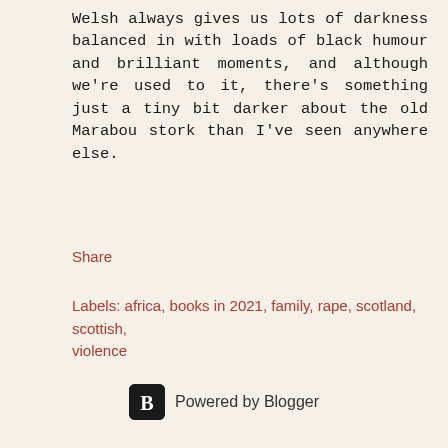Welsh always gives us lots of darkness balanced in with loads of black humour and brilliant moments, and although we're used to it, there's something just a tiny bit darker about the old Marabou stork than I've seen anywhere else.
Share
Labels: africa, books in 2021, family, rape, scotland, scottish, violence
Powered by Blogger